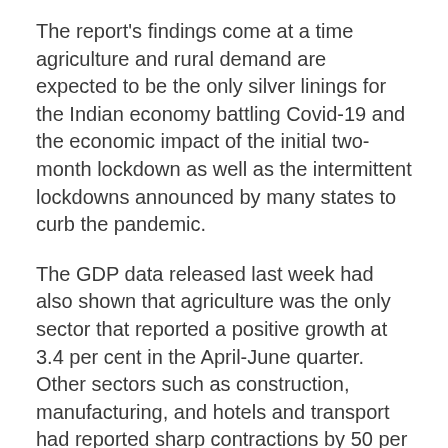The report's findings come at a time agriculture and rural demand are expected to be the only silver linings for the Indian economy battling Covid-19 and the economic impact of the initial two-month lockdown as well as the intermittent lockdowns announced by many states to curb the pandemic.
The GDP data released last week had also shown that agriculture was the only sector that reported a positive growth at 3.4 per cent in the April-June quarter. Other sectors such as construction, manufacturing, and hotels and transport had reported sharp contractions by 50 per cent, 39 per cent and 47 per cent, respectively.
The RBI, in its annual report released last month, had also pointed out how urban consumption demand has suffered a bigger blow than rural demand. Citing tractor sales and motorcycle purchase data, it had pointed to improved rural recovery; but added, "A fuller recovery in rural demand is...